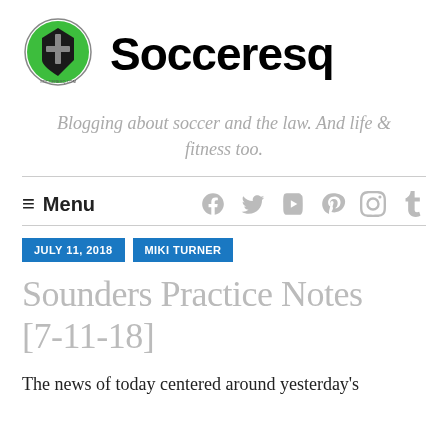[Figure (logo): Socceresq circular logo with green and black shield design and cross]
Socceresq
Blogging about soccer and the law. And life & fitness too.
≡ Menu
JULY 11, 2018   MIKI TURNER
Sounders Practice Notes [7-11-18]
The news of today centered around yesterday's